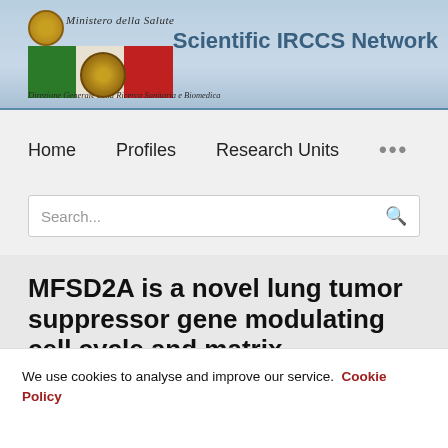Ministero della Salute — Scientific IRCCS Network — Direzione Generale della Ricerca Sanitaria e Biomedica
Home
Profiles
Research Units
MFSD2A is a novel lung tumor suppressor gene modulating cell cycle and matrix attachment
We use cookies to analyse and improve our service. Cookie Policy